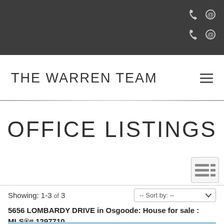Top bar with phone and email contact icons
THE WARREN TEAM
OFFICE LISTINGS
Showing: 1-3 of 3
5656 LOMBARDY DRIVE in Osgoode: House for sale : MLS®# 1297710
[Figure (photo): House exterior photo with sky background and RE/MAX logo badge]